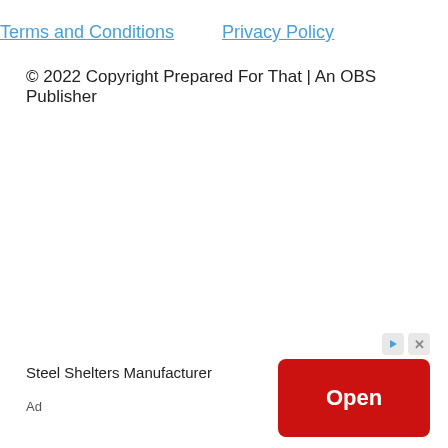Terms and Conditions   Privacy Policy
© 2022 Copyright Prepared For That | An OBS Publisher
[Figure (other): Advertisement banner: Steel Shelters Manufacturer ad with red Open button, play icon and close icon]
Ad